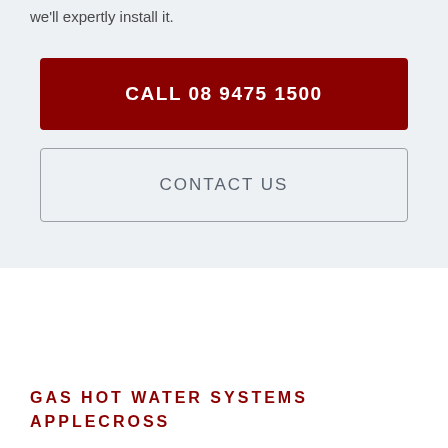we'll expertly install it.
CALL 08 9475 1500
CONTACT US
GAS HOT WATER SYSTEMS APPLECROSS